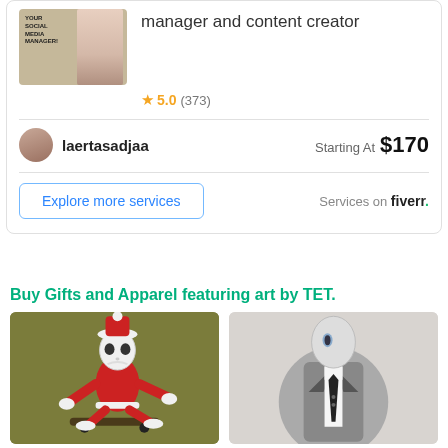manager and content creator
5.0 (373)
laertasadjaa
Starting At  $170
Explore more services
Services on fiverr.
Buy Gifts and Apparel featuring art by TET.
[Figure (illustration): Skeleton character dressed as Santa Claus on a skateboard, on olive/khaki background]
[Figure (illustration): Cartoon character in a grey suit with tie, partially cropped on the right side]